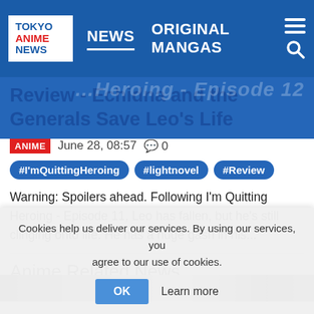TOKYO ANIME NEWS | NEWS | ORIGINAL MANGAS
Review - Echidna and the Generals Save Leo's Life
ANIME  June 28, 08:57  💬 0
#I'mQuittingHeroing  #lightnovel  #Review
Warning: Spoilers ahead. Following I'm Quitting Heroing - Episode 11, Leo has fallen, but he's still clinging onto life. He has a huge gash in his...
Anime Related News
Cookies help us deliver our services. By using our services, you agree to our use of cookies.